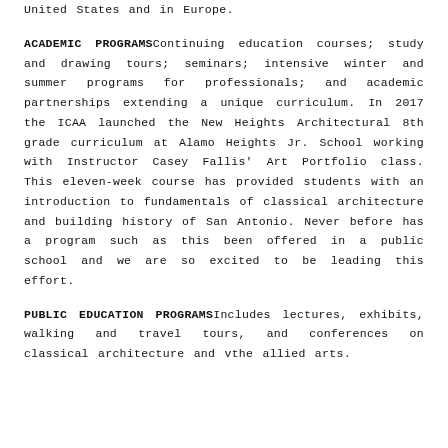United States and in Europe.
ACADEMIC PROGRAMSContinuing education courses; study and drawing tours; seminars; intensive winter and summer programs for professionals; and academic partnerships extending a unique curriculum. In 2017 the ICAA launched the New Heights Architectural 8th grade curriculum at Alamo Heights Jr. School working with Instructor Casey Fallis' Art Portfolio class. This eleven-week course has provided students with an introduction to fundamentals of classical architecture and building history of San Antonio. Never before has a program such as this been offered in a public school and we are so excited to be leading this effort.
PUBLIC EDUCATION PROGRAMSIncludes lectures, exhibits, walking and travel tours, and conferences on classical architecture and vthe allied arts.